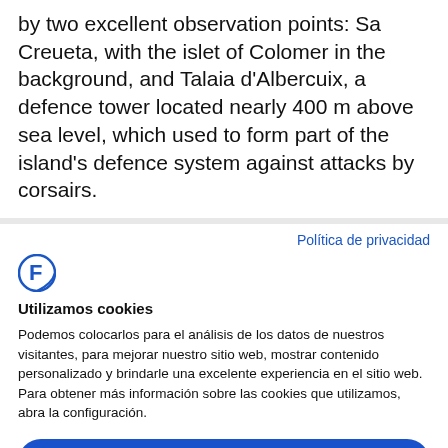by two excellent observation points: Sa Creueta, with the islet of Colomer in the background, and Talaia d'Albercuix, a defence tower located nearly 400 m above sea level, which used to form part of the island's defence system against attacks by corsairs.
Política de privacidad
[Figure (logo): Cookiebot logo — stylized letter F in blue circle]
Utilizamos cookies
Podemos colocarlos para el análisis de los datos de nuestros visitantes, para mejorar nuestro sitio web, mostrar contenido personalizado y brindarle una excelente experiencia en el sitio web. Para obtener más información sobre las cookies que utilizamos, abra la configuración.
Acepta todo
Rechaza
No, ajuste